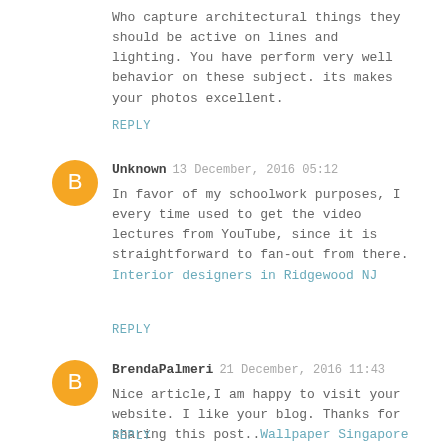Who capture architectural things they should be active on lines and lighting. You have perform very well behavior on these subject. its makes your photos excellent.
REPLY
Unknown 13 December, 2016 05:12
In favor of my schoolwork purposes, I every time used to get the video lectures from YouTube, since it is straightforward to fan-out from there. Interior designers in Ridgewood NJ
REPLY
BrendaPalmeri 21 December, 2016 11:43
Nice article,I am happy to visit your website. I like your blog. Thanks for sharing this post..Wallpaper Singapore
REPLY